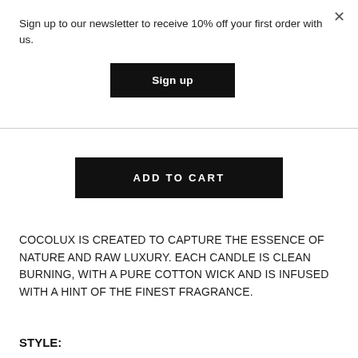Sign up to our newsletter to receive 10% off your first order with us.
Sign up
ADD TO CART
COCOLUX IS CREATED TO CAPTURE THE ESSENCE OF NATURE AND RAW LUXURY. EACH CANDLE IS CLEAN BURNING, WITH A PURE COTTON WICK AND IS INFUSED WITH A HINT OF THE FINEST FRAGRANCE.
STYLE: